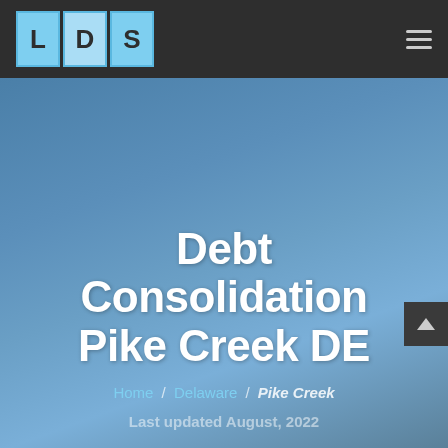LDS [logo] navigation bar with hamburger menu
Debt Consolidation Pike Creek DE
Home / Delaware / Pike Creek
Last updated August, 2022